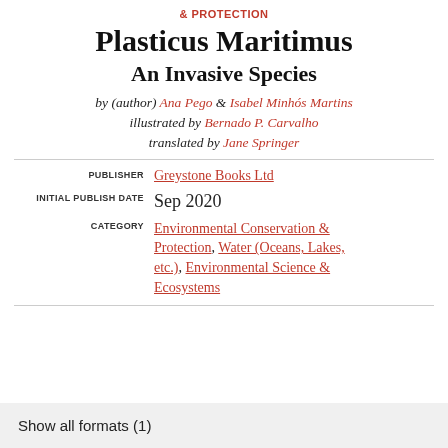& PROTECTION
Plasticus Maritimus
An Invasive Species
by (author) Ana Pego & Isabel Minhós Martins
illustrated by Bernado P. Carvalho
translated by Jane Springer
| Field | Value |
| --- | --- |
| PUBLISHER | Greystone Books Ltd |
| INITIAL PUBLISH DATE | Sep 2020 |
| CATEGORY | Environmental Conservation & Protection, Water (Oceans, Lakes, etc.), Environmental Science & Ecosystems |
Show all formats (1)